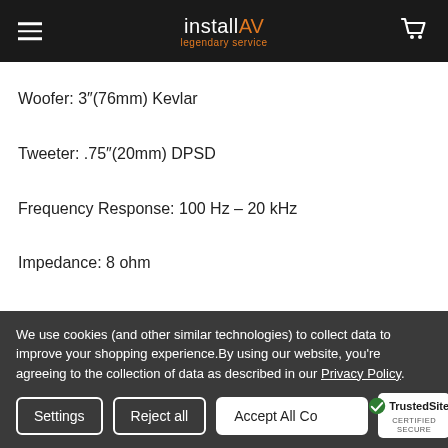install AV legendary service
Woofer: 3″(76mm) Kevlar
Tweeter: .75″(20mm) DPSD
Frequency Response: 100 Hz – 20 kHz
Impedance: 8 ohm
Grille Diameter: 4.25″(108mm)
We use cookies (and other similar technologies) to collect data to improve your shopping experience.By using our website, you're agreeing to the collection of data as described in our Privacy Policy.
Settings | Reject all | Accept All Cookies